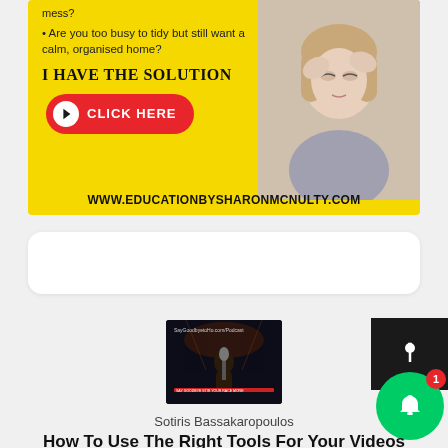[Figure (infographic): Yellow advertisement banner for educationbysharonmcnulty.com featuring bullet points, 'I HAVE THE SOLUTION' heading, red CLICK HERE button, and a photo of a stressed woman holding her head]
[Figure (other): Empty white rounded rectangle placeholder box]
[Figure (photo): Podcast thumbnail image with dark background showing text 'SayGoodbyetoHo.com/Podcast' and other text]
[Figure (other): Black square button with up arrow icon (notification/share button)]
[Figure (other): Green circular notification bell button with red badge showing number 1]
Sotiris Bassakaropoulos
How To Use The Right Tools For Your Videos